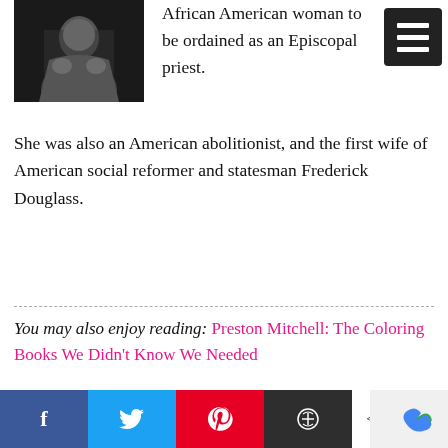[Figure (photo): Black and white historical photograph of a person]
African American woman to be ordained as an Episcopal priest.
She was also an American abolitionist, and the first wife of American social reformer and statesman Frederick Douglass.
You may also enjoy reading: Preston Mitchell: The Coloring Books We Didn't Know We Needed
[Figure (other): XOXO signature handwritten text at bottom]
Social share bar with Facebook, Twitter, Pinterest, Buffer buttons and 0 SHARES